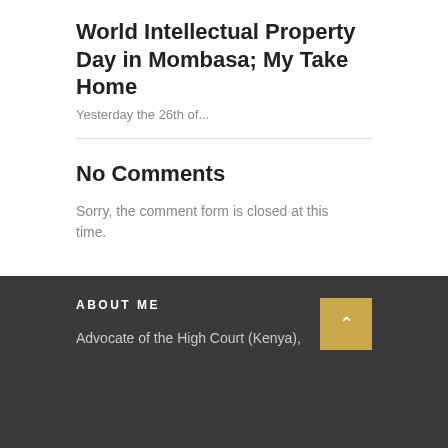World Intellectual Property Day in Mombasa; My Take Home
Yesterday the 26th of...
No Comments
Sorry, the comment form is closed at this time.
ABOUT ME
Advocate of the High Court (Kenya),